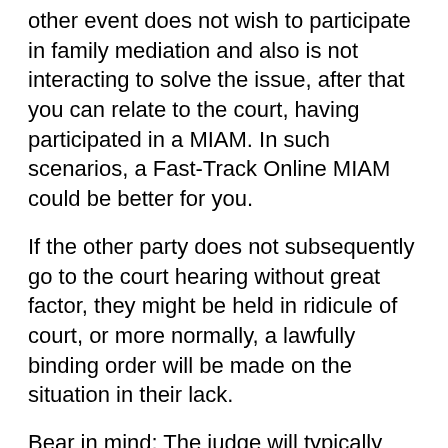other event does not wish to participate in family mediation and also is not interacting to solve the issue, after that you can relate to the court, having participated in a MIAM. In such scenarios, a Fast-Track Online MIAM could be better for you.
If the other party does not subsequently go to the court hearing without great factor, they might be held in ridicule of court, or more normally, a lawfully binding order will be made on the situation in their lack.
Bear in mind: The judge will typically desire you to discuss why you have not attended family mediation if you have actually been asked to go. If you do not go to mediation, see right here for even more details on whether it will certainly go